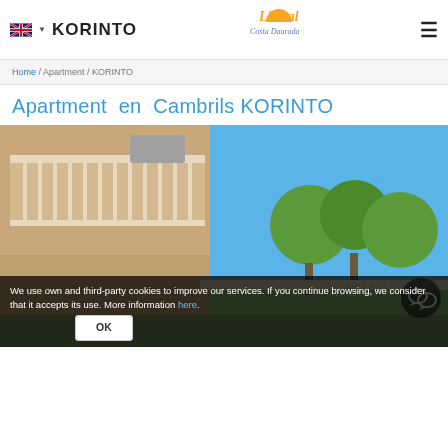KORINTO | Litoral Costa Daurada
Home / Apartment / KORINTO
Apartment  en  Cambrils KORINTO
[Figure (photo): Exterior photo of Korinto apartment building in Cambrils with balcony, green trees, and blue sky in background]
We use own and third-party cookies to improve our services. If you continue browsing, we consider that it accepts its use. More information here.
OK
CHECK BACK AVAILABILITY